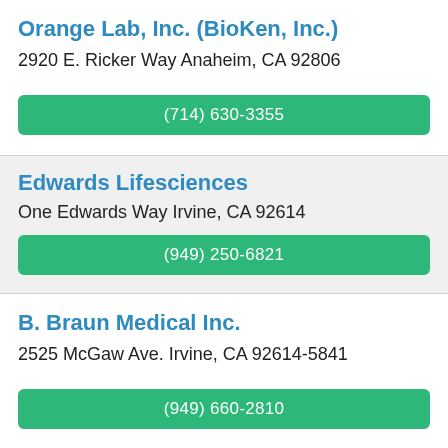Orange Lab, Inc. (BioKen, Inc.)
2920 E. Ricker Way Anaheim, CA 92806
(714) 630-3355
Edwards Lifesciences
One Edwards Way Irvine, CA 92614
(949) 250-6821
B. Braun Medical Inc.
2525 McGaw Ave. Irvine, CA 92614-5841
(949) 660-2810